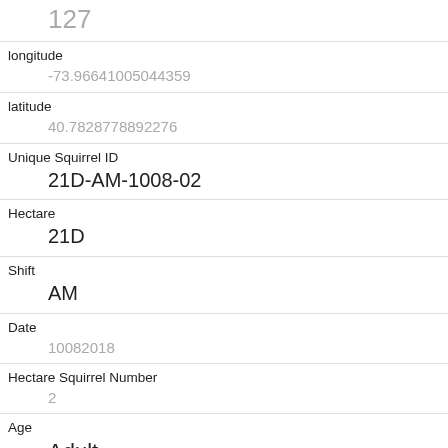| Field | Value |
| --- | --- |
|  | 127 |
| longitude | -73.96641005044359 |
| latitude | 40.7828778892276 |
| Unique Squirrel ID | 21D-AM-1008-02 |
| Hectare | 21D |
| Shift | AM |
| Date | 10082018 |
| Hectare Squirrel Number | 2 |
| Age | Adult |
| Primary Fur Color | Gray |
| Highlight Fur Color |  |